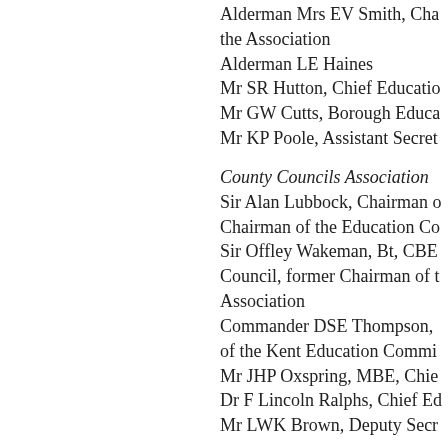Alderman Mrs EV Smith, Chairman of the Association
Alderman LE Haines
Mr SR Hutton, Chief Education Officer
Mr GW Cutts, Borough Education Officer
Mr KP Poole, Assistant Secretary
County Councils Association
Sir Alan Lubbock, Chairman of the Education Committee
Sir Offley Wakeman, Bt, CBE, Shropshire County Council, former Chairman of the Association
Commander DSE Thompson, Chairman of the Kent Education Committee
Mr JHP Oxspring, MBE, Chief Education Officer
Dr F Lincoln Ralphs, Chief Education Officer
Mr LWK Brown, Deputy Secretary
London County Council
Mrs M McIntosh, Chairman of the Education Committee
Mrs Helen C Bentwich, Chairman of the Schools Sub-Committee of the Education Committee
Mr WF Houghton, Education Officer
Dr EWH Briault, Deputy Education Officer